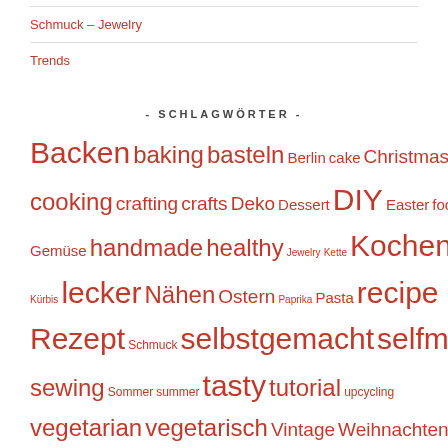Schmuck – Jewelry
Trends
- SCHLAGWÖRTER -
Backen baking basteln Berlin cake Christmas Cookies cooking crafting crafts Deko Dessert DIY Easter food Gemüse handmade healthy Jewelry Kette Kochen Kuchen Kürbis lecker Nähen Ostern Paprika Pasta recipe Rezept Schmuck selbstgemacht selfmade sewing Sommer summer tasty tutorial upcycling vegetarian vegetarisch Vintage Weihnachten